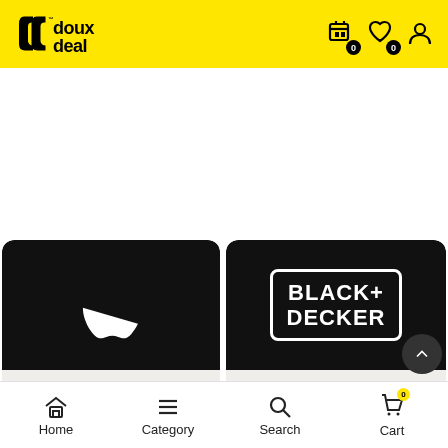[Figure (logo): Doux Deal logo on yellow header background with cart, wishlist, and profile icons]
[Figure (infographic): Apple brand card with white Apple logo on black background, label: Up to 15% off]
[Figure (infographic): Black+Decker brand card with logo on black background, label: Up to 35% off]
[Figure (infographic): Bottom navigation bar with Home, Category, Search, Cart icons]